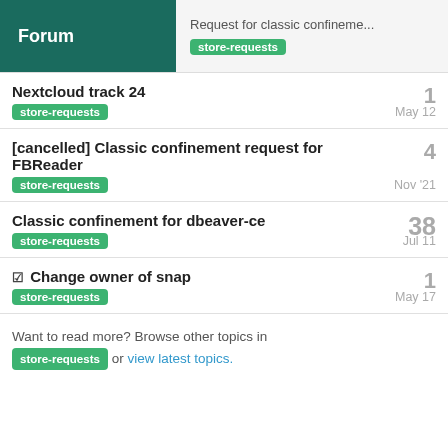Forum | Request for classic confineme... store-requests
Nextcloud track 24 | store-requests | 1 | May 12
[cancelled] Classic confinement request for FBReader | store-requests | 4 | Nov '21
Classic confinement for dbeaver-ce | store-requests | 38 | Jul 11
☑ Change owner of snap | store-requests | 1 | May 17
Want to read more? Browse other topics in store-requests or view latest topics.